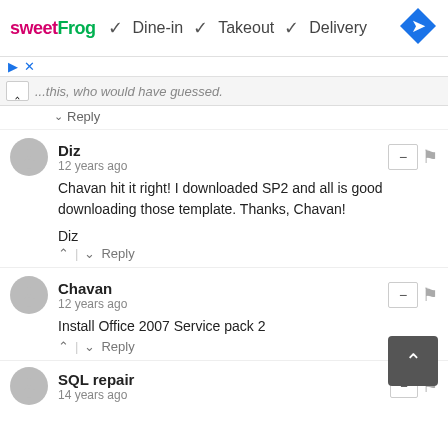[Figure (screenshot): Ad banner for sweetFrog showing Dine-in, Takeout, Delivery options with navigation icon]
...this, who would have guessed.
Reply
Diz
12 years ago
Chavan hit it right! I downloaded SP2 and all is good downloading those template. Thanks, Chavan!

Diz
Reply
Chavan
12 years ago
Install Office 2007 Service pack 2
Reply
SQL repair
14 years ago